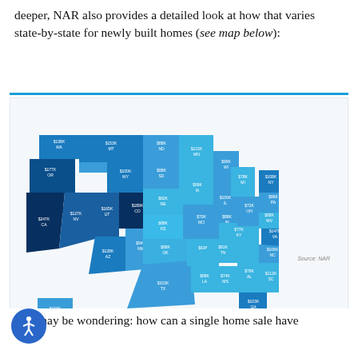deeper, NAR also provides a detailed look at how that varies state-by-state for newly built homes (see map below):
[Figure (map): US choropleth map titled 'The Economic Impact of a Home Sale - For Newly Built Homes' showing state-by-state contribution to gross product from a home sale. National Average is $113,200. States are shaded in varying shades of blue indicating different contribution ranges: >$250K (darkest), $200K-$250K, $150K-$200K, $100K-$150K, $80K-$100K, <$50K (lightest). Each state shows its abbreviation and dollar value.]
You may be wondering: how can a single home sale have